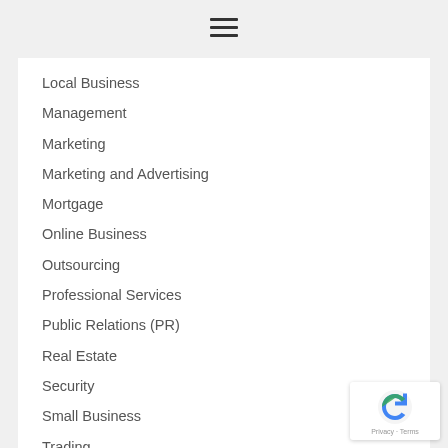[Figure (other): Hamburger menu icon (three horizontal lines)]
Local Business
Management
Marketing
Marketing and Advertising
Mortgage
Online Business
Outsourcing
Professional Services
Public Relations (PR)
Real Estate
Security
Small Business
Trading